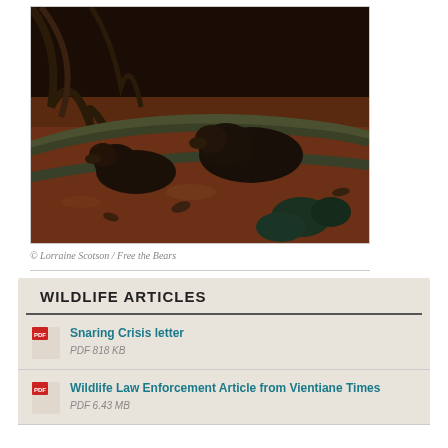[Figure (photo): Two dark-furred animals (possibly binturongs or similar wildlife) on reddish-brown soil among twisted tree roots and branches in a forest setting]
© Lorraine Scotson / Free the Bears
WILDLIFE ARTICLES
Snaring Crisis letter
PDF 818 KB
Wildlife Law Enforcement Article from Vientiane Times
PDF 6.43 MB